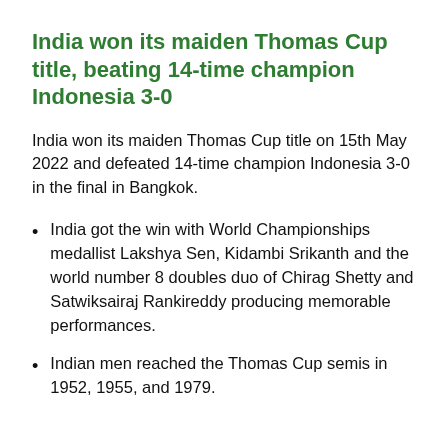India won its maiden Thomas Cup title, beating 14-time champion Indonesia 3-0
India won its maiden Thomas Cup title on 15th May 2022 and defeated 14-time champion Indonesia 3-0 in the final in Bangkok.
India got the win with World Championships medallist Lakshya Sen, Kidambi Srikanth and the world number 8 doubles duo of Chirag Shetty and Satwiksairaj Rankireddy producing memorable performances.
Indian men reached the Thomas Cup semis in 1952, 1955, and 1979.